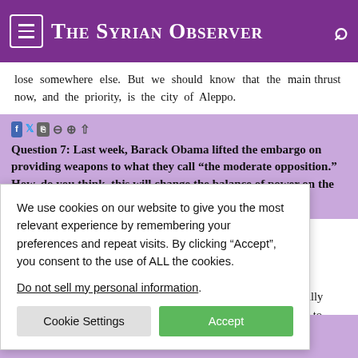The Syrian Observer
lose somewhere else. But we should know that the main thrust now, and the priority, is the city of Aleppo.
Question 7: Last week, Barack Obama lifted the embargo on providing weapons to what they call “the moderate opposition.” How, do you think, this will change the balance of power on the ground?
President Assad: Of course the Americans are treacherous. Lifting the embargo did not necessarily happen when Obama ...s after it actually ...hy I would like to ...ncement of lifting ...d these weapons ...hich are one and ...o believe that this ...my is making in ...nd it might be in ...mericans behave in such cases, we...at do they always
We use cookies on our website to give you the most relevant experience by remembering your preferences and repeat visits. By clicking “Accept”, you consent to the use of ALL the cookies. Do not sell my personal information.